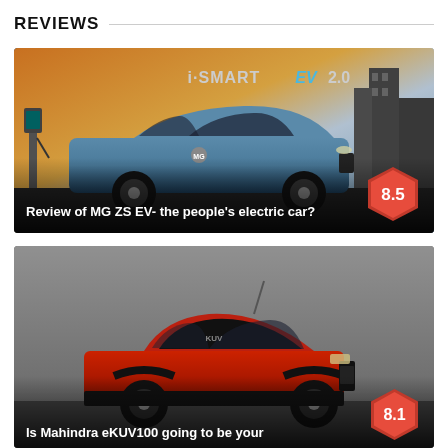REVIEWS
[Figure (photo): MG ZS EV car review card with i-SMART EV 2.0 branding, showing a blue SUV with rating badge 8.5]
Review of MG ZS EV- the people's electric car?
[Figure (photo): Mahindra eKUV100 car review card showing a red compact SUV with rating badge 8.1]
Is Mahindra eKUV100 going to be your